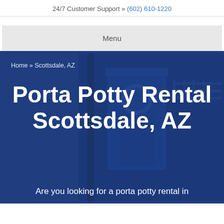24/7 Customer Support » (602) 610-1220
Menu
Home » Scottsdale, AZ
Porta Potty Rental Scottsdale, AZ
Are you looking for a porta potty rental in